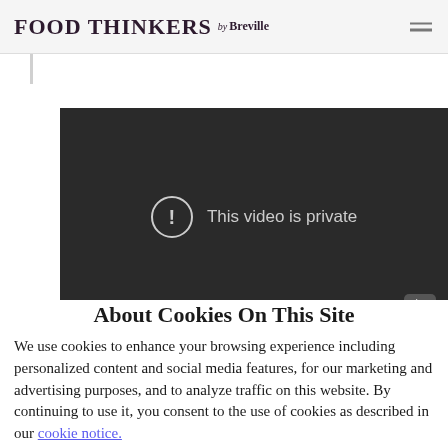FOOD THINKERS by Breville
[Figure (screenshot): Embedded video player showing 'This video is private' message with exclamation icon on dark background, with YouTube play button in bottom-right corner.]
About Cookies On This Site
We use cookies to enhance your browsing experience including personalized content and social media features, for our marketing and advertising purposes, and to analyze traffic on this website. By continuing to use it, you consent to the use of cookies as described in our cookie notice.